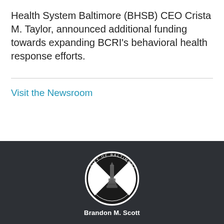Health System Baltimore (BHSB) CEO Crista M. Taylor, announced additional funding towards expanding BCRI's behavioral health response efforts.
Visit the Newsroom
[Figure (logo): City of Baltimore circular seal/logo in black and white on dark footer background, featuring a monument and diagonal stripes]
Brandon M. Scott